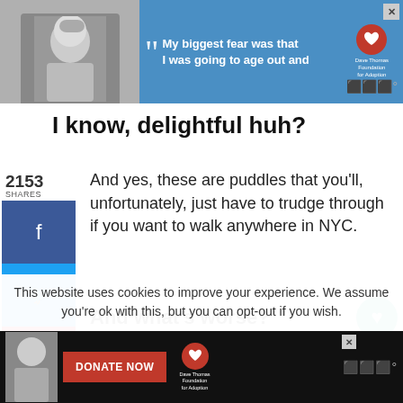[Figure (screenshot): Top advertisement banner with blue background showing a quote: 'My biggest fear was that I was going to age out and' with Dave Thomas Foundation for Adoption logo. Has an X close button and a monochrome photo of a person on the left.]
I know, delightful huh?
And yes, these are puddles that you'll, unfortunately, just have to trudge through if you want to walk anywhere in NYC.
And what's worse?
These puddles of slush actually tend to form
This website uses cookies to improve your experience. We assume you're ok with this, but you can opt-out if you wish.
[Figure (screenshot): Bottom advertisement banner on black background with photo of a young person, a red 'DONATE NOW' button, Dave Thomas Foundation for Adoption logo, close button, and menu icon.]